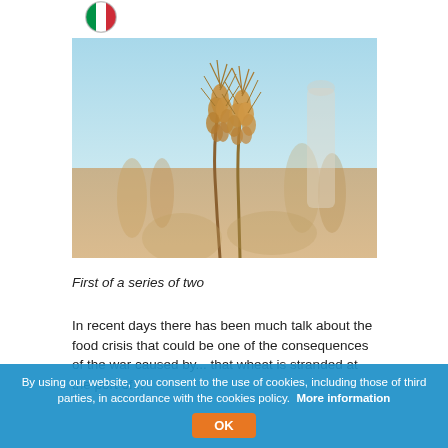[Figure (logo): Italian flag circular logo/icon]
[Figure (photo): Close-up photo of wheat stalks/ears against a light blue sky with blurred wheat field background]
First of a series of two
In recent days there has been much talk about the food crisis that could be one of the consequences of the war caused by... that wheat is stranded at the port of...
By using our website, you consent to the use of cookies, including those of third parties, in accordance with the cookies policy.  More information
OK